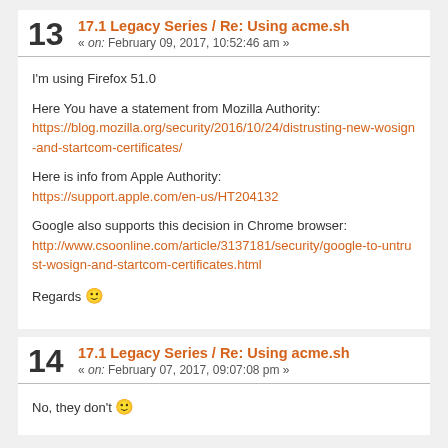13  17.1 Legacy Series / Re: Using acme.sh
« on: February 09, 2017, 10:52:46 am »
I'm using Firefox 51.0

Here You have a statement from Mozilla Authority:
https://blog.mozilla.org/security/2016/10/24/distrusting-new-wosign-and-startcom-certificates/

Here is info from Apple Authority:
https://support.apple.com/en-us/HT204132

Google also supports this decision in Chrome browser:
http://www.csoonline.com/article/3137181/security/google-to-untrust-wosign-and-startcom-certificates.html

Regards 🙂
14  17.1 Legacy Series / Re: Using acme.sh
« on: February 07, 2017, 09:07:08 pm »
No, they don't 🙂